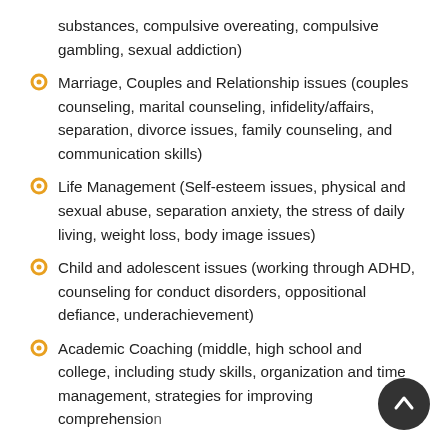substances, compulsive overeating, compulsive gambling, sexual addiction)
Marriage, Couples and Relationship issues (couples counseling, marital counseling, infidelity/affairs, separation, divorce issues, family counseling, and communication skills)
Life Management (Self-esteem issues, physical and sexual abuse, separation anxiety, the stress of daily living, weight loss, body image issues)
Child and adolescent issues (working through ADHD, counseling for conduct disorders, oppositional defiance, underachievement)
Academic Coaching (middle, high school and college, including study skills, organization and time management, strategies for improving comprehension